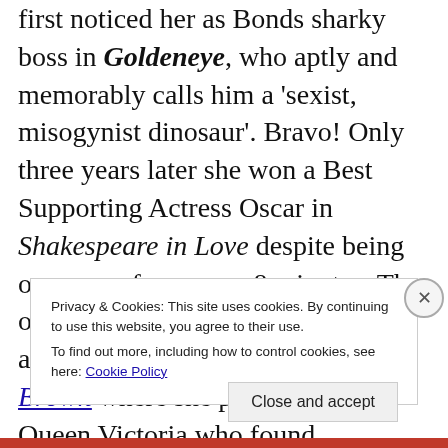first noticed her as Bonds sharky boss in Goldeneye, who aptly and memorably calls him a 'sexist, misogynist dinosaur'. Bravo! Only three years later she won a Best Supporting Actress Oscar in Shakespeare in Love despite being on screen for a mere 8 minutes. The one British monarch role I absolutely love her in was Mrs. Brown where she played an older Queen Victoria who found friendship in her servant Mr.
Privacy & Cookies: This site uses cookies. By continuing to use this website, you agree to their use. To find out more, including how to control cookies, see here: Cookie Policy
Close and accept